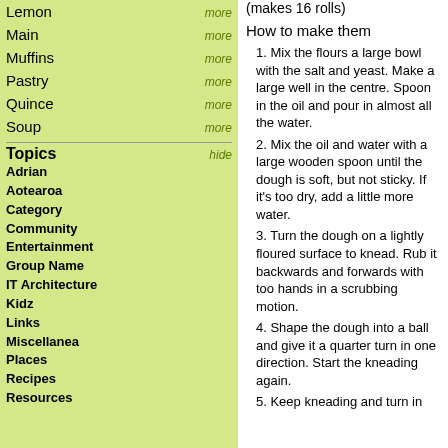Lemon   more
Main   more
Muffins   more
Pastry   more
Quince   more
Soup   more
Topics   hide
Adrian
Aotearoa
Category
Community
Entertainment
Group Name
IT Architecture
Kidz
Links
Miscellanea
Places
Recipes
Resources
(makes 16 rolls)
How to make them
1. Mix the flours a large bowl with the salt and yeast. Make a large well in the centre. Spoon in the oil and pour in almost all the water.
2. Mix the oil and water with a large wooden spoon until the dough is soft, but not sticky. If it's too dry, add a little more water.
3. Turn the dough on a lightly floured surface to knead. Rub it backwards and forwards with too hands in a scrubbing motion.
4. Shape the dough into a ball and give it a quarter turn in one direction. Start the kneading again.
5. Keep kneading and turn in...